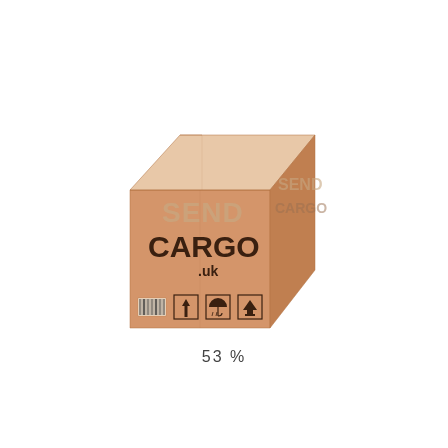[Figure (logo): A cardboard shipping box with 'SEND CARGO .uk' text printed on it, along with handling symbols (fragile, this side up, keep dry) and a barcode on the front-left face. The box is rendered in a 3D perspective view with tan/brown cardboard coloring.]
53 %